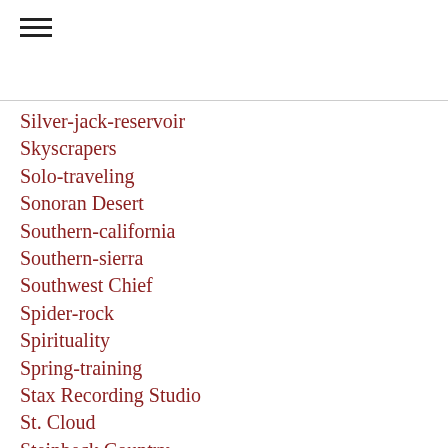Silver-jack-reservoir
Skyscrapers
Solo-traveling
Sonoran Desert
Southern-california
Southern-sierra
Southwest Chief
Spider-rock
Spirituality
Spring-training
Stax Recording Studio
St. Cloud
Steinbeck Country
Steve
Stockton-ports
Sunset
Sunsets
Superstition Mountains